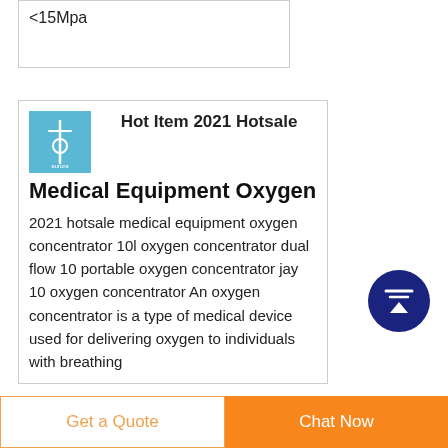<15Mpa
Hot Item 2021 Hotsale Medical Equipment Oxygen
2021 hotsale medical equipment oxygen concentrator 10l oxygen concentrator dual flow 10 portable oxygen concentrator jay 10 oxygen concentrator An oxygen concentrator is a type of medical device used for delivering oxygen to individuals with breathing
[Figure (illustration): Blue product thumbnail image of oxygen concentrator]
[Figure (other): Dark blue circular back-to-top arrow button]
Get a Quote
Chat Now